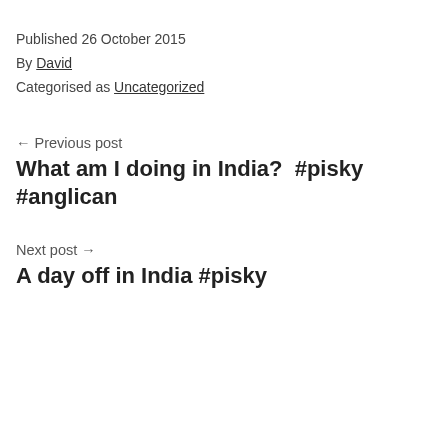Published 26 October 2015
By David
Categorised as Uncategorized
← Previous post
What am I doing in India?  #pisky #anglican
Next post →
A day off in India #pisky